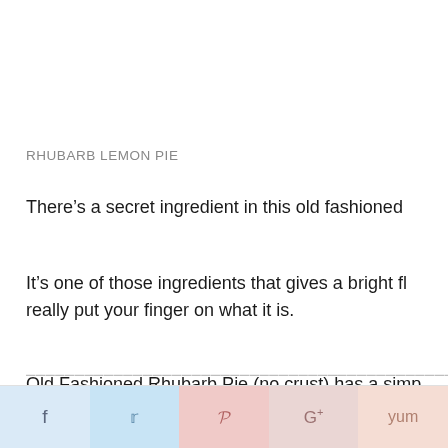RHUBARB LEMON PIE
There’s a secret ingredient in this old fashioned
It’s one of those ingredients that gives a bright fl really put your finger on what it is.
Old Fashioned Rhubarb Pie (no crust) has a simp
f        p    G+    yum